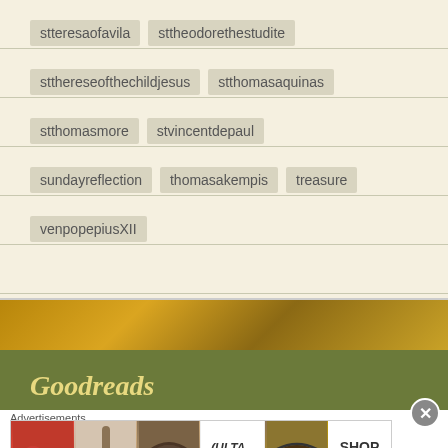stteresaofavila
sttheodorethestudite
stthereseofthechildjesus
stthomasaquinas
stthomasmore
stvincentdepaul
sundayreflection
thomasakempis
treasure
venpopepiusXII
Goodreads
Advertisements
[Figure (infographic): Ulta beauty advertisement banner with makeup imagery and SHOP NOW call to action]